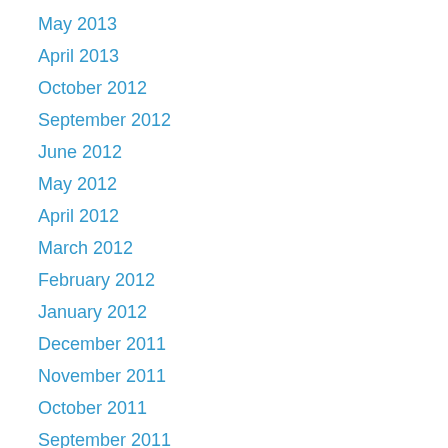May 2013
April 2013
October 2012
September 2012
June 2012
May 2012
April 2012
March 2012
February 2012
January 2012
December 2011
November 2011
October 2011
September 2011
August 2011
July 2011
June 2011
May 2011
April 2011
March 2011